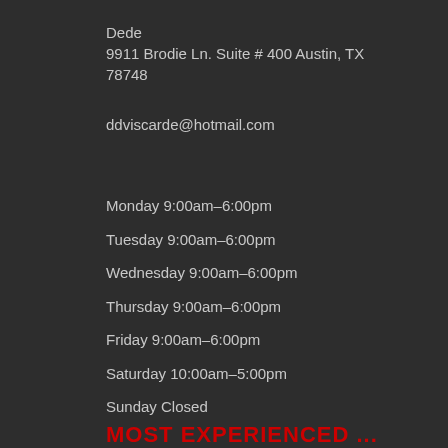Dede
9911 Brodie Ln. Suite # 400 Austin, TX 78748
ddviscarde@hotmail.com
Monday 9:00am–6:00pm
Tuesday 9:00am–6:00pm
Wednesday 9:00am–6:00pm
Thursday 9:00am–6:00pm
Friday 9:00am–6:00pm
Saturday 10:00am–5:00pm
Sunday Closed
MOST EXPERIENCED ...